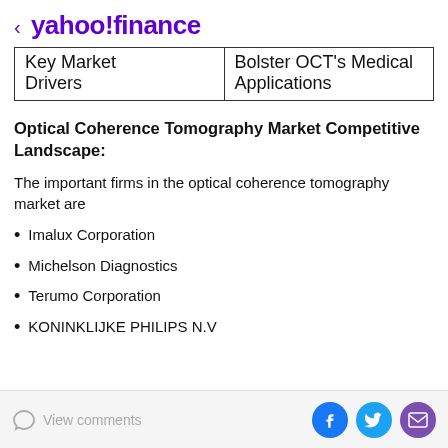< yahoo!finance
| Key Market Drivers | Bolster OCT's Medical Applications |
Optical Coherence Tomography Market Competitive Landscape:
The important firms in the optical coherence tomography market are
Imalux Corporation
Michelson Diagnostics
Terumo Corporation
KONINKLIJKE PHILIPS N.V
View comments